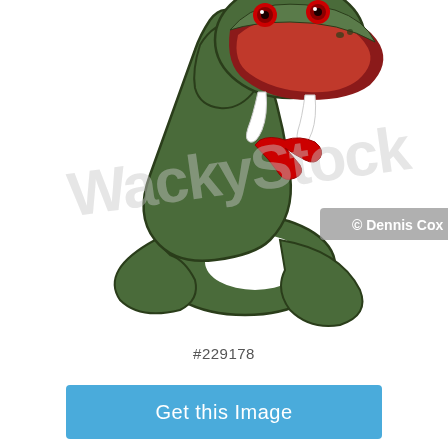[Figure (illustration): Cartoon illustration of a green snake rearing up with its mouth open wide, showing red fangs and a forked red tongue. The snake's body coils below. A watermark reading 'WackyStock' appears in light gray across the image, and a smaller watermark '© Dennis Cox' appears in a gray banner in the lower right area of the illustration.]
#229178
Get this Image